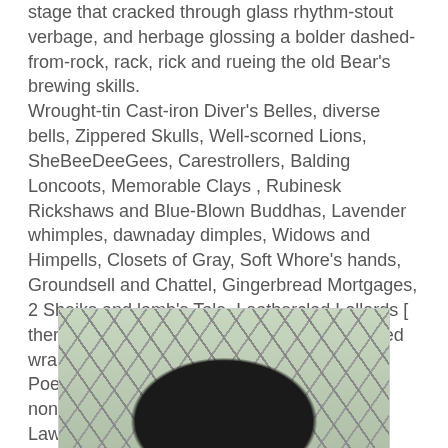stage that cracked through glass rhythm-stout verbage, and herbage glossing a bolder dashed-from-rock, rack, rick and rueing the old Bear's brewing skills.
Wrought-tin Cast-iron Diver's Belles, diverse bells, Zippered Skulls, Well-scorned Lions, SheBeeDeeGees, Carestrollers, Balding Loncoots, Memorable Clays , Rubinesk Rickshaws and Blue-Blown Buddhas, Lavender whimples, dawnaday dimples, Widows and Himpells, Closets of Gray, Soft Whore's hands, Groundsell and Chattel, Gingerbread Mortgages, 2 Sheiks and lamb's Tale, Leatherclad Lollards [ ther's the 3Ls again, he noted] and dumb-fisted wraithers. The Masses are winging it .
Poetry treats an ill will full of woe, claiming nonsense over logic and engineering over Lawyerking.
Tyndale's Death Row Bible, Wycliffes - A Bible Feral, in cartoon English glimpsed itinerantly by the constantly plagued
[Figure (photo): A chimpanzee or dark-furred animal seen through or near a chain-link fence, with a greenish background.]